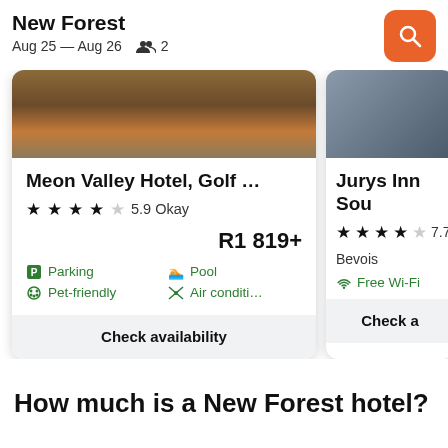New Forest
Aug 25 — Aug 26   2
[Figure (screenshot): Hotel card for Meon Valley Hotel, Golf ... with 4-star rating, 5.9 Okay, R1 819+, amenities: Parking, Pet-friendly, Pool, Air conditi..., and Check availability button. Partially visible second card for Jurys Inn Sou... with 4-star rating, 7.7, Bevois, Free Wi-Fi.]
How much is a New Forest hotel?